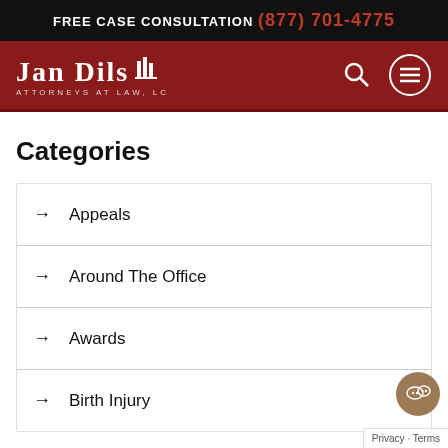FREE CASE CONSULTATION (877) 701-4775
[Figure (logo): Jan Dils Attorneys at Law, LC logo with building icon on dark red background]
Categories
Appeals
Around The Office
Awards
Birth Injury